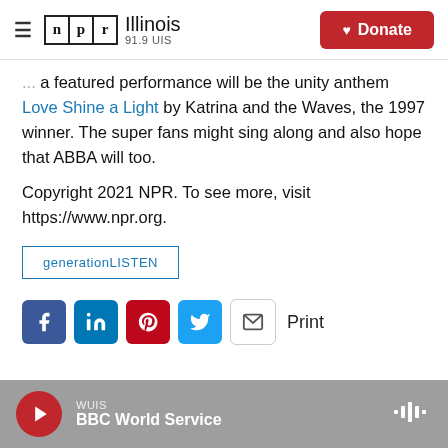NPR Illinois 91.9 UIS | Donate
a featured performance will be the unity anthem Love Shine a Light by Katrina and the Waves, the 1997 winner. The super fans might sing along and also hope that ABBA will too.
Copyright 2021 NPR. To see more, visit https://www.npr.org.
generationLISTEN
[Figure (infographic): Social share buttons: Facebook, LinkedIn, Pinterest, Twitter, Email, and Print label]
WUIS BBC World Service